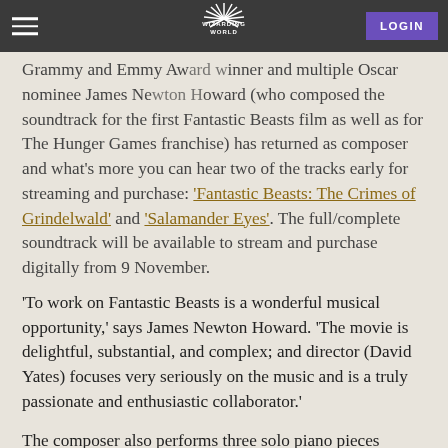Wizarding World — LOGIN
Grammy and Emmy Award winner and multiple Oscar nominee James Newton Howard (who composed the soundtrack for the first Fantastic Beasts film as well as for The Hunger Games franchise) has returned as composer and what's more you can hear two of the tracks early for streaming and purchase: 'Fantastic Beasts: The Crimes of Grindelwald' and 'Salamander Eyes'. The full/complete soundtrack will be available to stream and purchase digitally from 9 November.
'To work on Fantastic Beasts is a wonderful musical opportunity,' says James Newton Howard. 'The movie is delightful, substantial, and complex; and director (David Yates) focuses very seriously on the music and is a truly passionate and enthusiastic collaborator.'
The composer also performs three solo piano pieces and through the film, which will also be available...